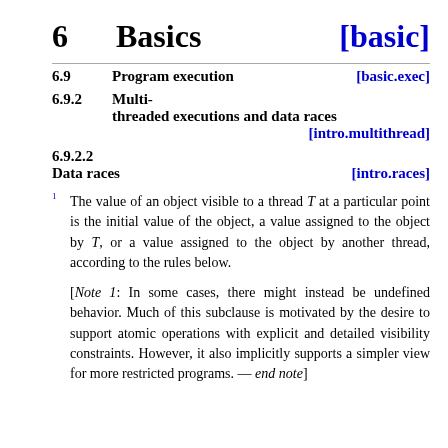6   Basics   [basic]
6.9   Program execution   [basic.exec]
6.9.2   Multi-threaded executions and data races   [intro.multithread]
6.9.2.2   Data races   [intro.races]
The value of an object visible to a thread T at a particular point is the initial value of the object, a value assigned to the object by T, or a value assigned to the object by another thread, according to the rules below.
[Note 1: In some cases, there might instead be undefined behavior. Much of this subclause is motivated by the desire to support atomic operations with explicit and detailed visibility constraints. However, it also implicitly supports a simpler view for more restricted programs. — end note]